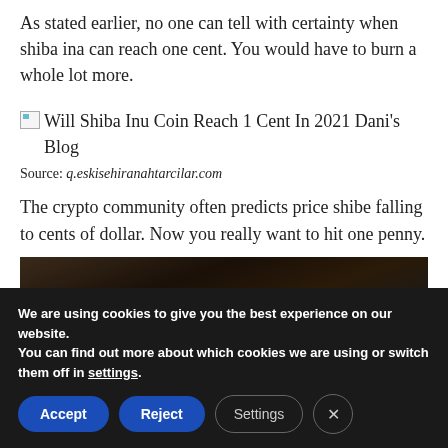As stated earlier, no one can tell with certainty when shiba ina can reach one cent. You would have to burn a whole lot more.
[Figure (illustration): Broken image placeholder with alt text: Will Shiba Inu Coin Reach 1 Cent In 2021 Dani's Blog]
Source: q.eskisehiranahtarcilar.com
The crypto community often predicts price shibe falling to cents of dollar. Now you really want to hit one penny.
[Figure (photo): Partial photo of a Shiba Inu dog, dark background, mostly cropped]
We are using cookies to give you the best experience on our website.
You can find out more about which cookies we are using or switch them off in settings.